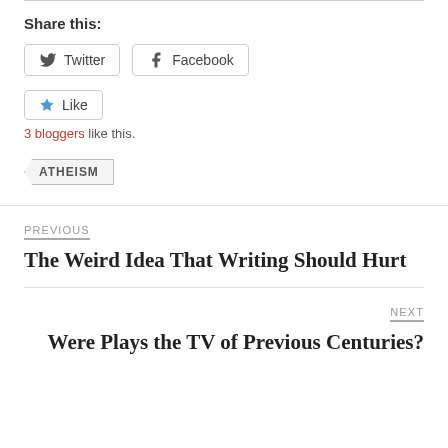Share this:
Twitter  Facebook
Like
3 bloggers like this.
ATHEISM
PREVIOUS
The Weird Idea That Writing Should Hurt
NEXT
Were Plays the TV of Previous Centuries?